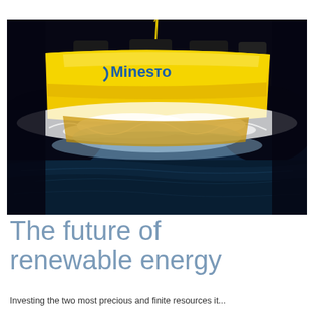[Figure (photo): Underwater photograph of a yellow Minesto tidal energy device (kite-shaped) being deployed in churning white water against a dark ocean background. Yellow rope visible at top. Blue 'Minesto' text visible on the yellow body of the device.]
The future of renewable energy
Investing the two most precious and finite resources it...